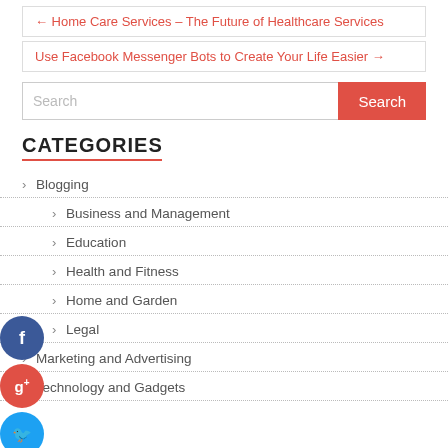← Home Care Services – The Future of Healthcare Services
Use Facebook Messenger Bots to Create Your Life Easier →
CATEGORIES
> Blogging
> Business and Management
> Education
> Health and Fitness
> Home and Garden
> Legal
> Marketing and Advertising
> Technology and Gadgets